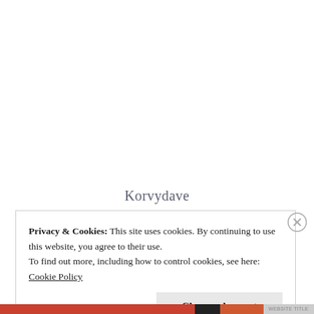Korvydave
Privacy & Cookies: This site uses cookies. By continuing to use this website, you agree to their use.
To find out more, including how to control cookies, see here: Cookie Policy
Close and accept